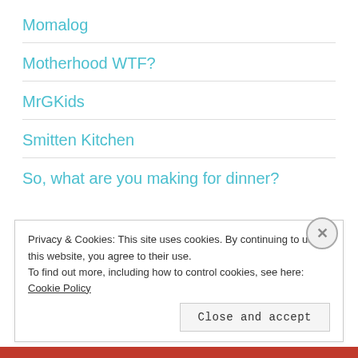Momalog
Motherhood WTF?
MrGKids
Smitten Kitchen
So, what are you making for dinner?
- My Tags! -
Privacy & Cookies: This site uses cookies. By continuing to use this website, you agree to their use.
To find out more, including how to control cookies, see here: Cookie Policy
Close and accept